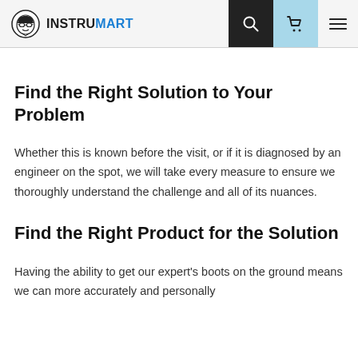INSTRUMART
Find the Right Solution to Your Problem
Whether this is known before the visit, or if it is diagnosed by an engineer on the spot, we will take every measure to ensure we thoroughly understand the challenge and all of its nuances.
Find the Right Product for the Solution
Having the ability to get our expert's boots on the ground means we can more accurately and personally